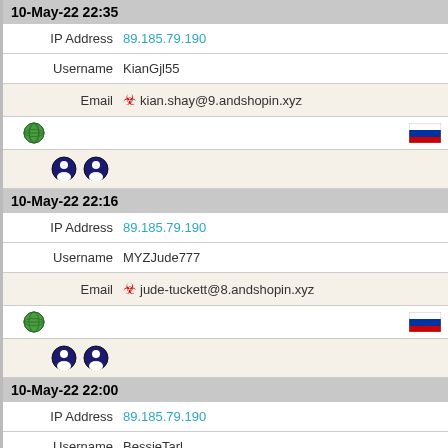10-May-22 22:35
IP Address  89.185.79.190
Username  KianGjl55
Email  kian.shay@9.andshopin.xyz
[Figure (infographic): Globe icon and Russian flag icon row]
[Figure (infographic): Two Firefox-style user account icons]
10-May-22 22:16
IP Address  89.185.79.190
Username  MYZJude777
Email  jude-tuckett@8.andshopin.xyz
[Figure (infographic): Globe icon and Russian flag icon row]
[Figure (infographic): Two Firefox-style user account icons]
10-May-22 22:00
IP Address  89.185.79.190
Username  BessieTarl
Email  bessie_tarleton22@8.andshopin.xyz
[Figure (infographic): Globe icon and Russian flag icon row]